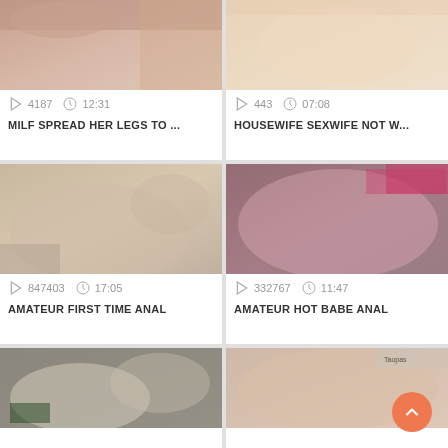[Figure (screenshot): Video thumbnail grid showing adult video listings with thumbnails, view counts, durations, and titles]
4187  12:31
MILF SPREAD HER LEGS TO ...
443  07:08
HOUSEWIFE SEXWIFE NOT W...
847403  17:05
AMATEUR FIRST TIME ANAL
332767  11:47
AMATEUR HOT BABE ANAL